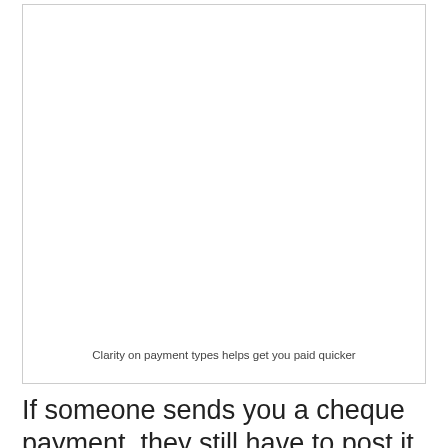[Figure (illustration): Blank white image box representing a photo/illustration about clarity on payment types]
Clarity on payment types helps get you paid quicker
If someone sends you a cheque payment, they still have to post it. The postman's got to collect it, it needs to be mail sorted, it's got to